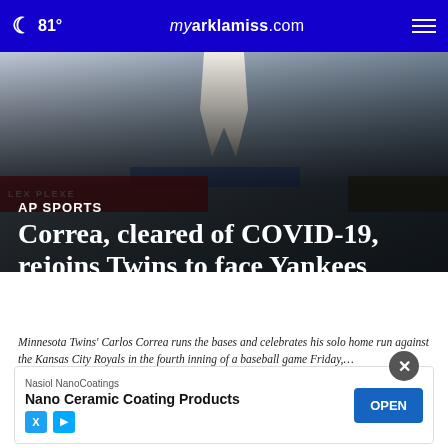81° myarklamiss.com
[Figure (photo): Baseball player runs the bases, stadium signage visible in background]
AP SPORTS
Correa, cleared of COVID-19, rejoins Twins to face Yankees
Minnesota Twins' Carlos Correa runs the bases and celebrates his solo home run against the Kansas City Royals in the fourth inning of a baseball game Friday,…
Read More
by: DA…
Posted:…
Updated: Jun 8, 2022 / 05:56 PM CDT